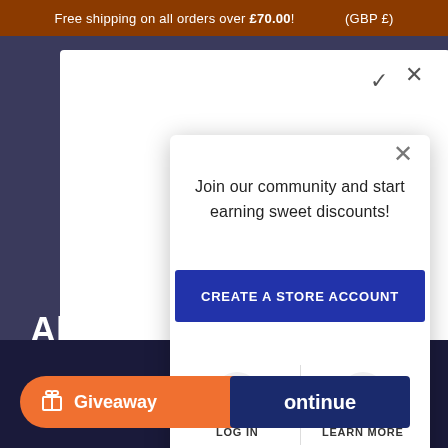Free shipping on all orders over £70.00! (GBP £)
Alak
Sho
Get
Join our community and start earning sweet discounts!
CREATE A STORE ACCOUNT
LOG IN
LEARN MORE
Change shipping country
Giveaway
ontinue